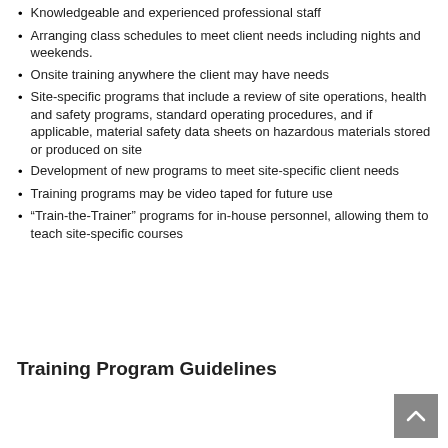Knowledgeable and experienced professional staff
Arranging class schedules to meet client needs including nights and weekends.
Onsite training anywhere the client may have needs
Site-specific programs that include a review of site operations, health and safety programs, standard operating procedures, and if applicable, material safety data sheets on hazardous materials stored or produced on site
Development of new programs to meet site-specific client needs
Training programs may be video taped for future use
“Train-the-Trainer” programs for in-house personnel, allowing them to teach site-specific courses
Training Program Guidelines